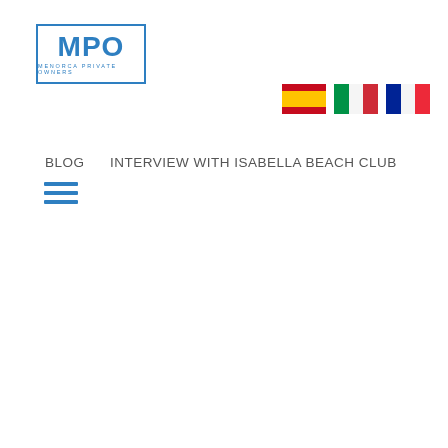[Figure (logo): MPO - Menorca Private Owners logo with blue border box, bold blue MPO letters and small text below]
[Figure (infographic): Hamburger menu icon with three horizontal blue lines]
[Figure (infographic): Three country flag icons: Spanish flag (red-yellow-red), Italian flag (green-white-red), French flag (blue-white-red)]
BLOG    INTERVIEW WITH ISABELLA BEACH CLUB